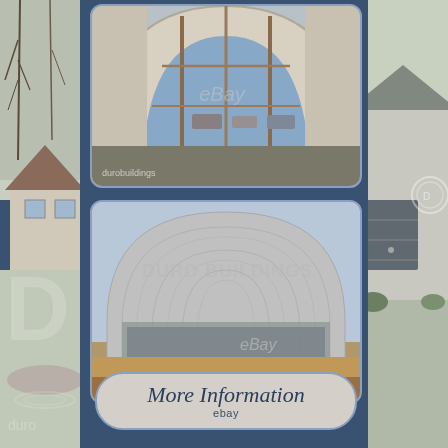[Figure (photo): Left background strip showing a house exterior with trees and gravel driveway, Duro Buildings watermark overlay]
[Figure (photo): Interior of a steel arch building showing the arched ribbed metal roof structure with open end framing, vehicles visible outside, eBay and durobuildings watermarks]
[Figure (photo): Exterior view of a large Duro Buildings steel arch/quonset hut style structure with ribbed metal panels, open end, trees and road in background, eBay watermark]
[Figure (photo): Right background strip showing a house exterior with garage door, Duro Buildings logo]
More Information
ebay